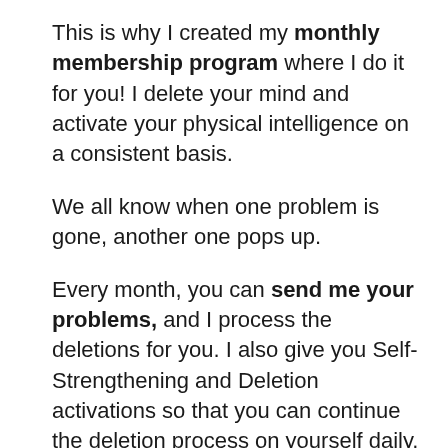This is why I created my monthly membership program where I do it for you! I delete your mind and activate your physical intelligence on a consistent basis.
We all know when one problem is gone, another one pops up.
Every month, you can send me your problems, and I process the deletions for you. I also give you Self-Strengthening and Deletion activations so that you can continue the deletion process on yourself daily.